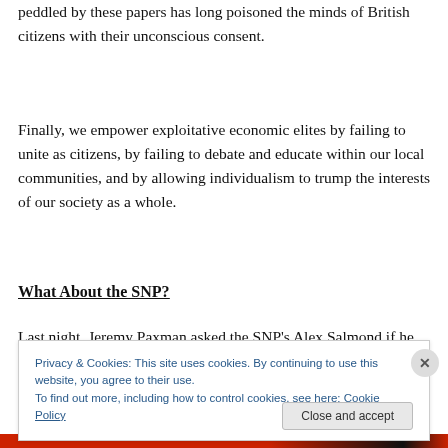peddled by these papers has long poisoned the minds of British citizens with their unconscious consent.
Finally, we empower exploitative economic elites by failing to unite as citizens, by failing to debate and educate within our local communities, and by allowing individualism to trump the interests of our society as a whole.
What About the SNP?
Last night, Jeremy Paxman asked the SNP's Alex Salmond if he was worried about Scotland effectively
Privacy & Cookies: This site uses cookies. By continuing to use this website, you agree to their use.
To find out more, including how to control cookies, see here: Cookie Policy
Close and accept